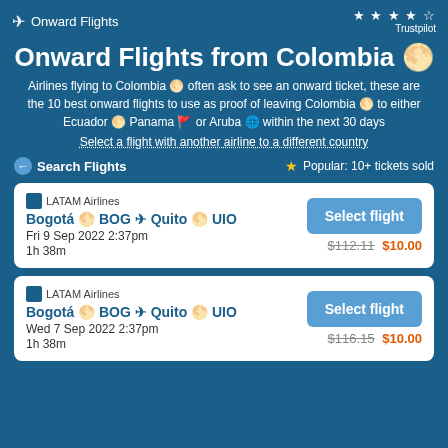Onward Flights
Onward Flights from Colombia 🇨🇴
Airlines flying to Colombia 🇨🇴 often ask to see an onward ticket, these are the 10 best onward flights to use as proof of leaving Colombia 🇨🇴 to either Ecuador 🇪🇨 Panama 🇵🇦 or Aruba 🇦🇼 within the next 30 days
Select a flight with another airline to a different country
← Search Flights
⭐ Popular: 10+ tickets sold
| Flight | Route | Date | Duration | Price |
| --- | --- | --- | --- | --- |
| LATAM Airlines | Bogotá 🇨🇴 BOG ✈ Quito 🇪🇨 UIO | Fri 9 Sep 2022 2:37pm | 1h 38m | $10.00 |
| LATAM Airlines | Bogotá 🇨🇴 BOG ✈ Quito 🇪🇨 UIO | Wed 7 Sep 2022 2:37pm | 1h 38m | $10.00 |